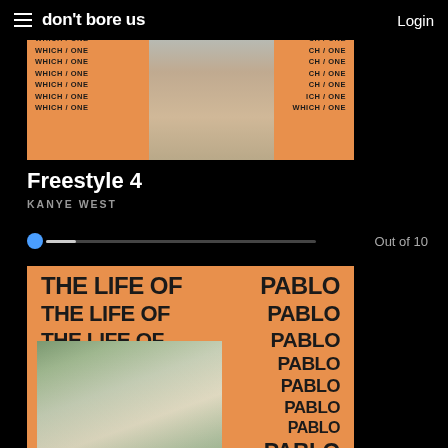don't bore us    Login
[Figure (illustration): Album artwork for Kanye West 'Which One' showing orange background with repeated 'WHICH / ONE' text and a photo in the center]
Freestyle 4
KANYE WEST
[Figure (other): Rating slider bar with blue dot at left and 'Out of 10' label on the right]
[Figure (illustration): Album artwork for Kanye West 'The Life of Pablo' showing orange background with repeated 'THE LIFE OF PABLO' text in large black bold font, with a wedding group photo overlaid in the center]